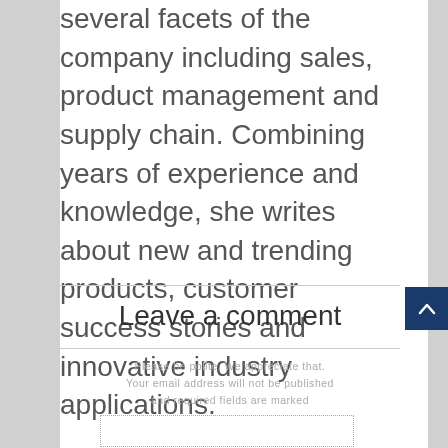several facets of the company including sales, product management and supply chain. Combining years of experience and knowledge, she writes about new and trending products, customer success stories and innovative industry applications.
Leave a comment
Please be polite. We appreciate that. Your email address will not be published and required fields are marked